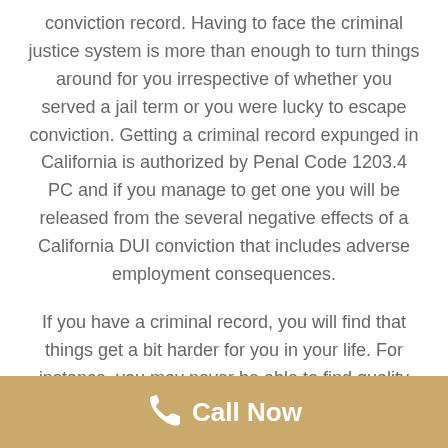conviction record. Having to face the criminal justice system is more than enough to turn things around for you irrespective of whether you served a jail term or you were lucky to escape conviction. Getting a criminal record expunged in California is authorized by Penal Code 1203.4 PC and if you manage to get one you will be released from the several negative effects of a California DUI conviction that includes adverse employment consequences.
If you have a criminal record, you will find that things get a bit harder for you in your life. For instance, you may never be able to find quality employment, rent a home, or get financed by a bank for a future purchase of property. Covina DUI lawyer understands the importance of clearing a criminal record and we specialize in DUI expungement. Our top goal is to remove the stigma associated with a
Call Now